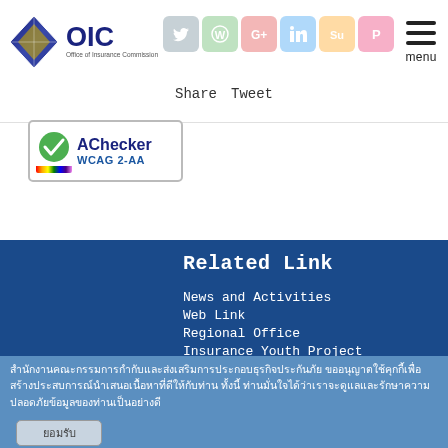OIC - Office of Insurance Commission
[Figure (logo): OIC diamond logo with text 'OIC Office of Insurance Commission']
[Figure (screenshot): Social media share icons: Twitter, WhatsApp, Google+, LinkedIn, StumbleUpon, Pinterest]
Share  Tweet
[Figure (logo): AChecker WCAG 2-AA accessibility badge with rainbow stripe]
Related Link
News and Activities
Web Link
Regional Office
Insurance Youth Project
Sitemap
Contact OIC
Volunteer Insurance Program
สำนักงานคณะกรรมการกำกับและส่งเสริมการประกอบธุรกิจประกันภัย ขออนุญาตใช้คุกกี้เพื่อสร้างประสบการณ์นำเสนอเนื้อหาที่ดีให้กับท่าน ทั้งนี้ ท่านมั่นใจได้ว่าเราจะดูแลและรักษาความปลอดภัยข้อมูลของท่านเป็นอย่างดี
ยอมรับ